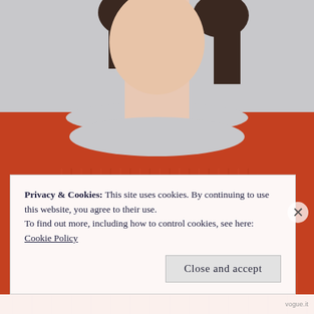[Figure (photo): Close-up photo of a woman wearing a rust/burnt-orange ribbed knit sweater with a wide boat neckline. The model's face is partially visible above the neckline, with dark hair. Background is light grey. The sweater fills most of the frame.]
Privacy & Cookies: This site uses cookies. By continuing to use this website, you agree to their use.
To find out more, including how to control cookies, see here: Cookie Policy
Close and accept